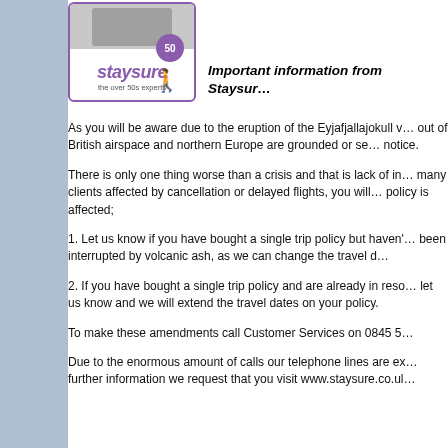[Figure (logo): Staysure logo — the over 50s experts, with purple border and person figure holding a 50 sign]
Important information from Staysur…
As you will be aware due to the eruption of the Eyjafjallajokull v… out of British airspace and northern Europe are grounded or se… notice.
There is only one thing worse than a crisis and that is lack of in… many clients affected by cancellation or delayed flights, you will… policy is affected;
1. Let us know if you have bought a single trip policy but haven'… been interrupted by volcanic ash, as we can change the travel d…
2. If you have bought a single trip policy and are already in reso… let us know and we will extend the travel dates on your policy.
To make these amendments call Customer Services on 0845 5…
Due to the enormous amount of calls our telephone lines are ex… further information we request that you visit www.staysure.co.ul…